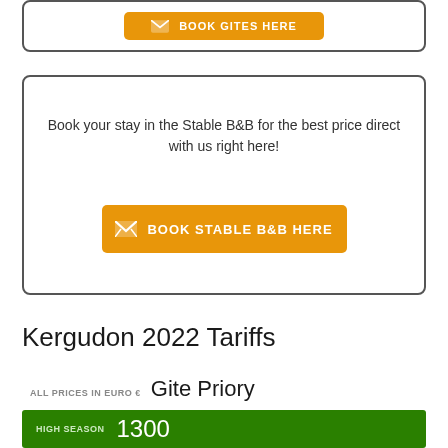[Figure (other): Orange button with envelope icon labeled BOOK GITES HERE inside a rounded border box (top cropped)]
Book your stay in the Stable B&B for the best price direct with us right here!
[Figure (other): Orange button with envelope icon labeled BOOK STABLE B&B HERE inside a rounded border box]
Kergudon 2022 Tariffs
ALL PRICES IN EURO € Gite Priory
HIGH SEASON 1300